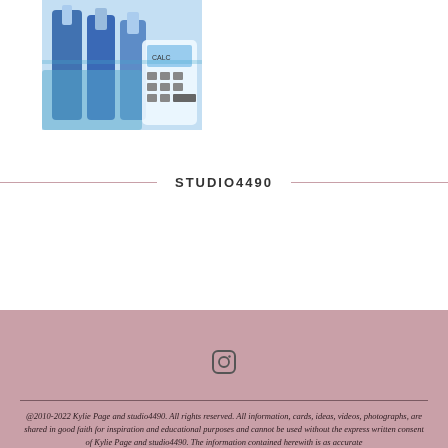[Figure (photo): Photo of dental/art supply items including toothbrushes and a calculator on a colorful background]
STUDIO4490
[Figure (other): Social media icon (square/Instagram-style icon)]
@2010-2022 Kylie Page and studio4490. All rights reserved. All information, cards, ideas, videos, photographs, are shared in good faith for inspiration and educational purposes and cannot be used without the express written consent of Kylie Page and studio4490. The information contained herewith is as accurate